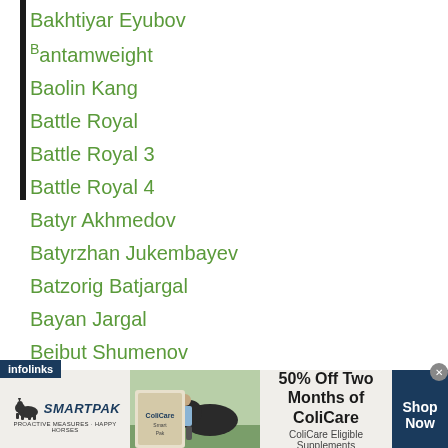Bakhtiyar Eyubov
Bantamweight
Baolin Kang
Battle Royal
Battle Royal 3
Battle Royal 4
Batyr Akhmedov
Batyrzhan Jukembayev
Batzorig Batjargal
Bayan Jargal
Beibut Shumenov
Bek Nurmaganbet
Bektemir Melikuziev
Bekzat Nurdauletov
Benezer Alolod
...Suganob
[Figure (infographic): SmartPak advertisement banner: 50% Off Two Months of ColiCare, ColiCare Eligible Supplements, CODE: COLICARE10, with SmartPak logo and horse photo, Shop Now button]